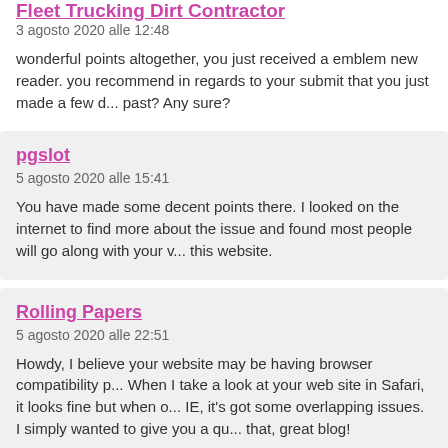Fleet Trucking Dirt Contractor
3 agosto 2020 alle 12:48
wonderful points altogether, you just received a emblem new reader. you recommend in regards to your submit that you just made a few d... past? Any sure?
pgslot
5 agosto 2020 alle 15:41
You have made some decent points there. I looked on the internet to... more about the issue and found most people will go along with your v... this website.
Rolling Papers
5 agosto 2020 alle 22:51
Howdy, I believe your website may be having browser compatibility p... When I take a look at your web site in Safari, it looks fine but when o... IE, it's got some overlapping issues. I simply wanted to give you a qu... that, great blog!